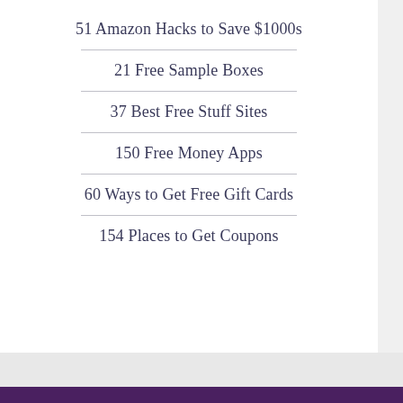51 Amazon Hacks to Save $1000s
21 Free Sample Boxes
37 Best Free Stuff Sites
150 Free Money Apps
60 Ways to Get Free Gift Cards
154 Places to Get Coupons